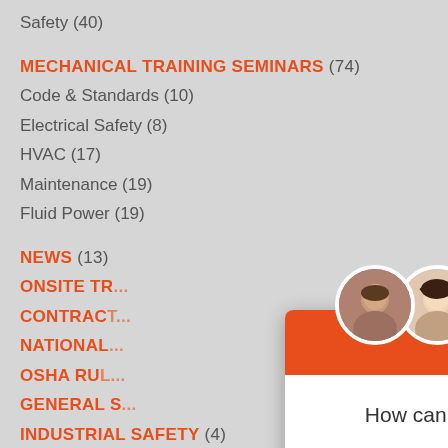Safety (40)
MECHANICAL TRAINING SEMINARS (74)
Code & Standards (10)
Electrical Safety (8)
HVAC (17)
Maintenance (19)
Fluid Power (19)
NEWS (13)
ONSITE TR...
CONTRACT...
NATIONAL...
OSHA RUL...
GENERAL S...
INDUSTRIAL SAFETY (4)
PLUMBING STANDARDS (2)
ELECTRICAL BLUEPRINT READING (6)
NATURAL GAS SAFETY (3)
[Figure (screenshot): Chat popup with two avatar photos, orange header with X close button, text 'How can we assist you?' and orange 'Chat Now' button]